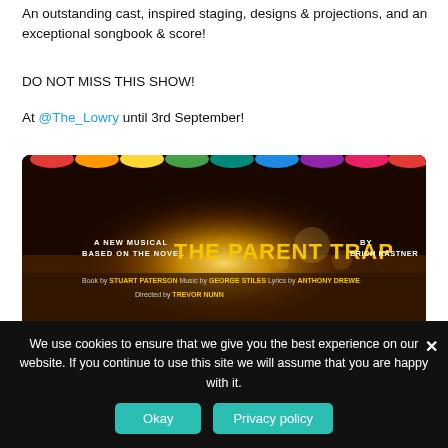An outstanding cast, inspired staging, designs & projections, and an exceptional songbook & score!
DO NOT MISS THIS SHOW!
At @The_Lowry until 3rd September!
[Figure (illustration): Promotional poster for The Parent Trap musical. Shows colorful umbrellas at top, a sunset over golden grass field, with text: A New Musical Based on the Novel THE PARENT TRAP by Erich Kästner. Book by Stuart Paterson, Music by George Stiles, Lyrics by Anthony Drewe, Directed by Trevor Nunn.]
We use cookies to ensure that we give you the best experience on our website. If you continue to use this site we will assume that you are happy with it.